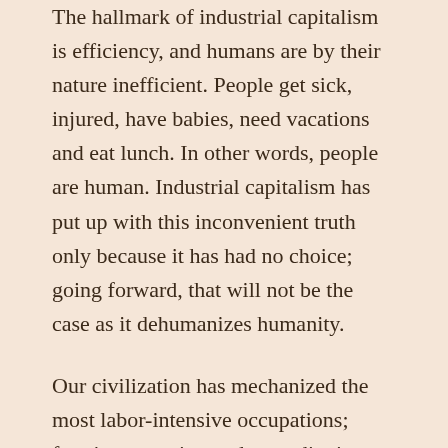The hallmark of industrial capitalism is efficiency, and humans are by their nature inefficient. People get sick, injured, have babies, need vacations and eat lunch. In other words, people are human. Industrial capitalism has put up with this inconvenient truth only because it has had no choice; going forward, that will not be the case as it dehumanizes humanity.
Our civilization has mechanized the most labor-intensive occupations; farming, weaving and even digging holes in the ground by hand with a shovel. As robotic intelligence grows, it will invade everything; help desks, language translation, identification of faces, policing and, of course, warfare. Today’s “smart” bombs require human intervention; the “smart” bombs of tomorrow will not suffer that inconvenience.